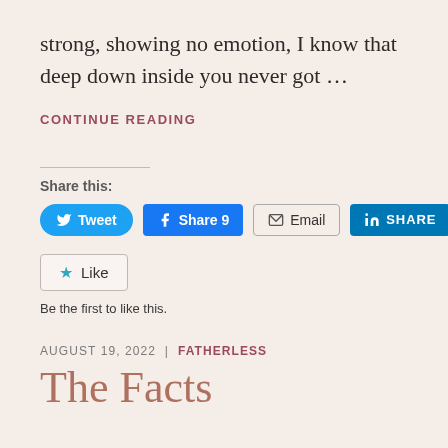strong, showing no emotion, I know that deep down inside you never got ...
CONTINUE READING
Share this:
[Figure (infographic): Social share buttons: Tweet (Twitter), Share 9 (Facebook), Email, SHARE (LinkedIn)]
[Figure (infographic): Like button with star icon. Text: Be the first to like this.]
Be the first to like this.
AUGUST 19, 2022  |  FATHERLESS
The Facts